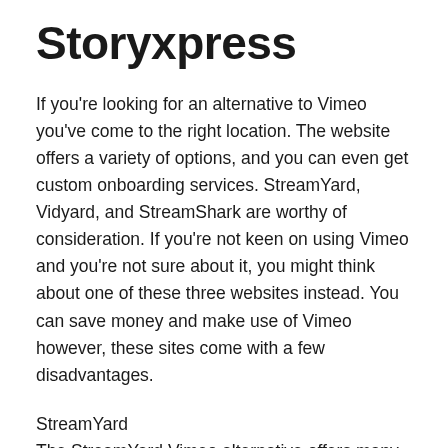Storyxpress
If you're looking for an alternative to Vimeo you've come to the right location. The website offers a variety of options, and you can even get custom onboarding services. StreamYard, Vidyard, and StreamShark are worthy of consideration. If you're not keen on using Vimeo and you're not sure about it, you might think about one of these three websites instead. You can save money and make use of Vimeo however, these sites come with a few disadvantages.
StreamYard
The StreamYard Vimeo alternative offers many benefits. If you're looking to get an alternative to the most popular video hosting